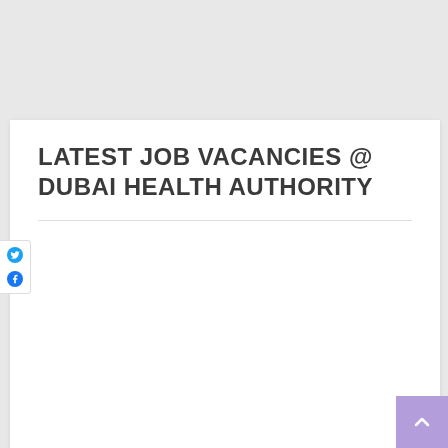LATEST JOB VACANCIES @ DUBAI HEALTH AUTHORITY